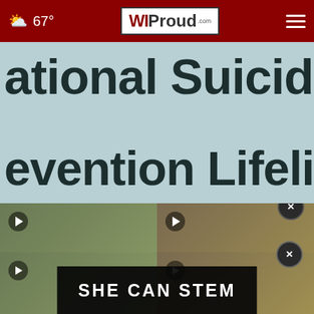67° WIProud.com
[Figure (photo): Close-up photo of a sign reading 'National Suicide Prevention Lifeline' with body text about the lifeline providing 24/7 free and confidential support for people in distress, prevention and crisis services for you or your loved ones, and for professionals.]
New 3-digit suicide lifeline '988' is live
[Figure (screenshot): Two video thumbnails at the bottom of the page, with a 'SHE CAN STEM' promotional banner overlay and a close (x) button.]